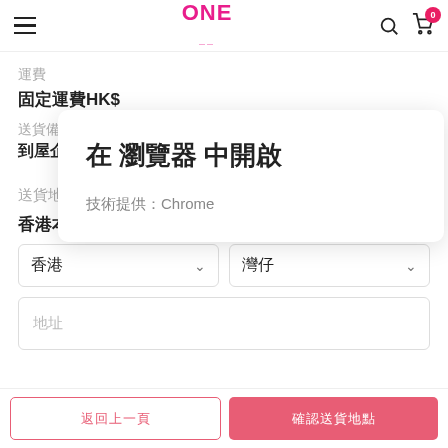ONE (logo) — hamburger menu, search icon, cart icon with badge 0
運費
固定運費HK$
送貨備註
到屋企附近自提點自取
[Figure (screenshot): Popup dialog showing '在 瀏覽器 中開啟' as title and '技術提供：Chrome' as subtitle]
送貨地點
香港本地
香港 (dropdown) | 灣仔 (dropdown)
地址 (placeholder)
返回上一頁 | 確認送貨地點